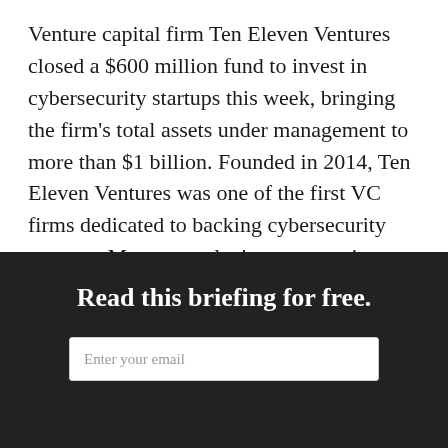Venture capital firm Ten Eleven Ventures closed a $600 million fund to invest in cybersecurity startups this week, bringing the firm's total assets under management to more than $1 billion. Founded in 2014, Ten Eleven Ventures was one of the first VC firms dedicated to backing cybersecurity startups. More recently, investments in cybersecurity have reached a fever pitch as businesses ramp up...
Read this briefing for free.